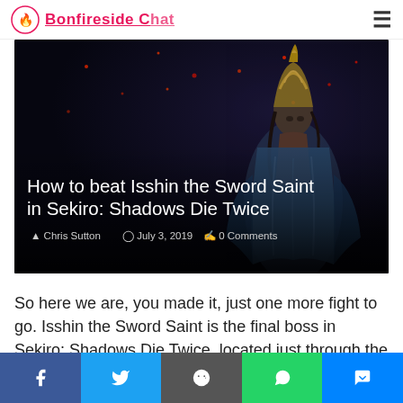Bonfireside Chat (logo) — hamburger menu
[Figure (photo): Dark atmospheric artwork of Isshin the Sword Saint, a warrior in samurai armor with a golden helmet, standing against a dark background with red glowing particles. Article title 'How to beat Isshin the Sword Saint in Sekiro: Shadows Die Twice' overlaid in white text, with author Chris Sutton, date July 3, 2019, and 0 Comments.]
How to beat Isshin the Sword Saint in Sekiro: Shadows Die Twice
Chris Sutton  July 3, 2019  0 Comments
So here we are, you made it, just one more fight to go. Isshin the Sword Saint is the final boss in Sekiro: Shadows Die Twice, located just through the passage
Social share bar: Facebook, Twitter, Reddit, WhatsApp, Messenger